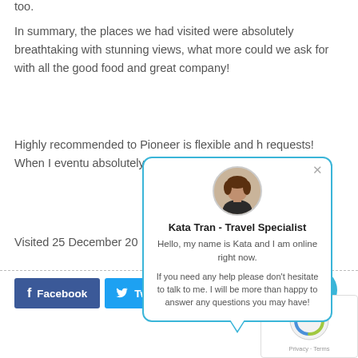too.
In summary, the places we had visited were absolutely breathtaking with stunning views, what more could we ask for with all the good food and great company!
Highly recommended to... Pioneer is flexible and h... requests! When I eventu... absolutely use Indochin...
Visited 25 December 20...
[Figure (screenshot): Chat popup with Kata Tran - Travel Specialist. Avatar photo of a woman in a suit. Text: Hello, my name is Kata and I am online right now. If you need any help please don't hesitate to talk to me. I will be more than happy to answer any questions you may have!]
[Figure (infographic): Social share buttons: Facebook (blue), Twitter (light blue), Pinterest (red)]
[Figure (screenshot): Blue chat bubble button in bottom right]
[Figure (screenshot): reCAPTCHA box with Privacy and Terms links]